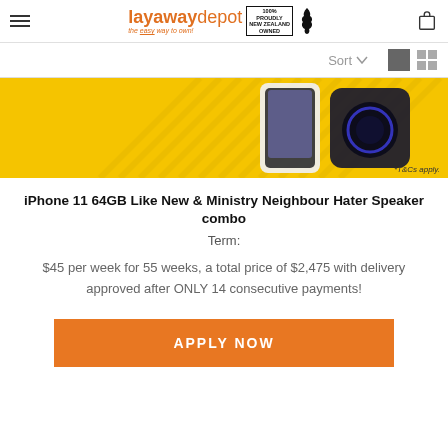layawaydepot the easy way to own! 100% PROUDLY NEW ZEALAND OWNED
Sort
[Figure (photo): Yellow promotional banner showing an iPhone 11 and a Bluetooth speaker on a yellow striped background, with '*T&Cs apply.' text in bottom right]
iPhone 11 64GB Like New & Ministry Neighbour Hater Speaker combo
Term:
$45 per week for 55 weeks, a total price of $2,475 with delivery approved after ONLY 14 consecutive payments!
APPLY NOW